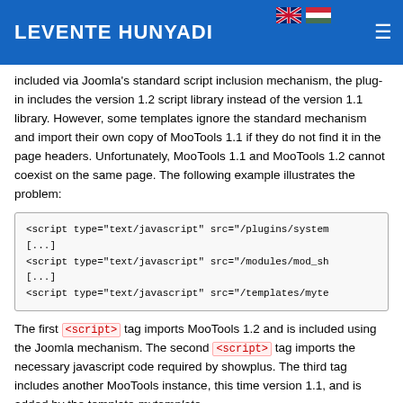LEVENTE HUNYADI
included via Joomla's standard script inclusion mechanism, the plug-in includes the version 1.2 script library instead of the version 1.1 library. However, some templates ignore the standard mechanism and import their own copy of MooTools 1.1 if they do not find it in the page headers. Unfortunately, MooTools 1.1 and MooTools 1.2 cannot coexist on the same page. The following example illustrates the problem:
[Figure (screenshot): Code block showing three script tags: one from /plugins/system, one from /modules/mod_sh, and one from /templates/myte]
The first <script> tag imports MooTools 1.2 and is included using the Joomla mechanism. The second <script> tag imports the necessary javascript code required by showplus. The third tag includes another MooTools instance, this time version 1.1, and is added by the template mytemplate.